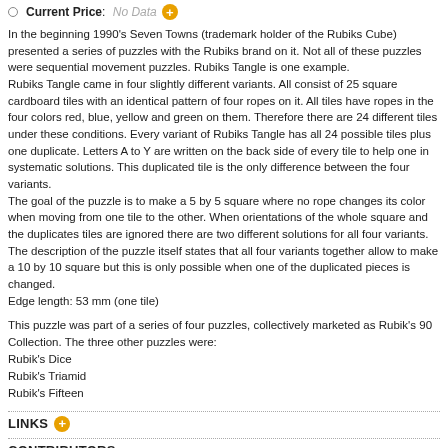Current Price: No Data
In the beginning 1990's Seven Towns (trademark holder of the Rubiks Cube) presented a series of puzzles with the Rubiks brand on it. Not all of these puzzles were sequential movement puzzles. Rubiks Tangle is one example.
Rubiks Tangle came in four slightly different variants. All consist of 25 square cardboard tiles with an identical pattern of four ropes on it. All tiles have ropes in the four colors red, blue, yellow and green on them. Therefore there are 24 different tiles under these conditions. Every variant of Rubiks Tangle has all 24 possible tiles plus one duplicate. Letters A to Y are written on the back side of every tile to help one in systematic solutions. This duplicated tile is the only difference between the four variants.
The goal of the puzzle is to make a 5 by 5 square where no rope changes its color when moving from one tile to the other. When orientations of the whole square and the duplicates tiles are ignored there are two different solutions for all four variants.
The description of the puzzle itself states that all four variants together allow to make a 10 by 10 square but this is only possible when one of the duplicated pieces is changed.
Edge length: 53 mm (one tile)
This puzzle was part of a series of four puzzles, collectively marketed as Rubik's 90 Collection. The three other puzzles were:
Rubik's Dice
Rubik's Triamid
Rubik's Fifteen
LINKS
CONTRIBUTORS